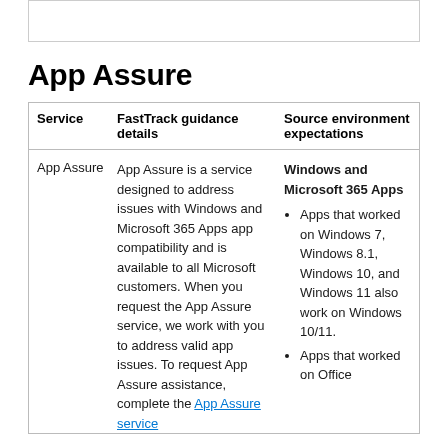App Assure
| Service | FastTrack guidance details | Source environment expectations |
| --- | --- | --- |
| App Assure | App Assure is a service designed to address issues with Windows and Microsoft 365 Apps app compatibility and is available to all Microsoft customers. When you request the App Assure service, we work with you to address valid app issues. To request App Assure assistance, complete the App Assure service [link] | Windows and Microsoft 365 Apps
• Apps that worked on Windows 7, Windows 8.1, Windows 10, and Windows 11 also work on Windows 10/11.
• Apps that worked on Office |